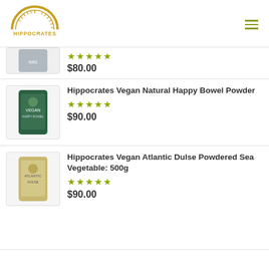[Figure (logo): Hippocrates logo: golden arched sunrise over text HIPPOCRATES]
★★★★★
$80.00
Hippocrates Vegan Natural Happy Bowel Powder
★★★★★
$90.00
Hippocrates Vegan Atlantic Dulse Powdered Sea Vegetable: 500g
★★★★★
$90.00